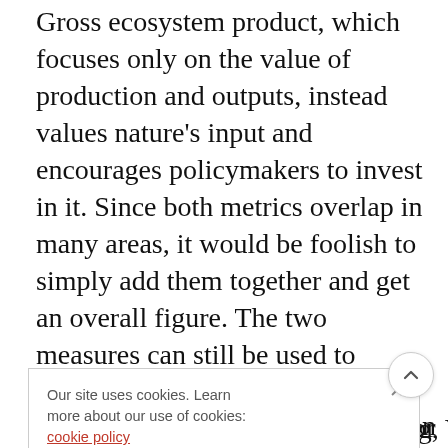Gross ecosystem product, which focuses only on the value of production and outputs, instead values nature's input and encourages policymakers to invest in it. Since both metrics overlap in many areas, it would be foolish to simply add them together and get an overall figure. The two measures can still be used to provide information that is complementary and could allow for sustainable economic growth in the future.
has been . Qinghai gion that contains the source for the Mekong, Yangtze, and
[Figure (other): Cookie consent banner with close button (×), text 'Our site uses cookies. Learn more about our use of cookies:', a red underlined link 'cookie policy', and a grey 'I ACCEPT USE OF COOKIES' button.]